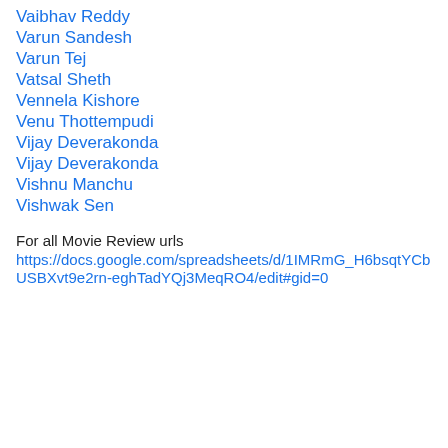Vaibhav Reddy
Varun Sandesh
Varun Tej
Vatsal Sheth
Vennela Kishore
Venu Thottempudi
Vijay Deverakonda
Vijay Deverakonda
Vishnu Manchu
Vishwak Sen
For all Movie Review urls
https://docs.google.com/spreadsheets/d/1IMRmG_H6bsqtYCbUSBXvt9e2rn-eghTadYQj3MeqRO4/edit#gid=0